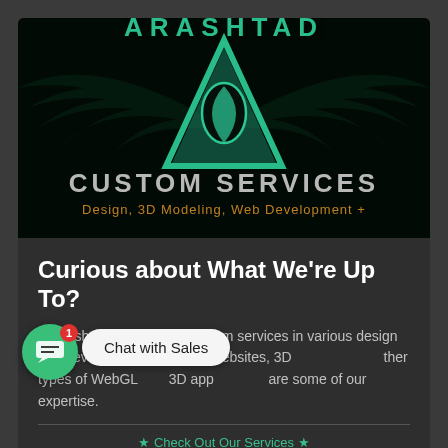[Figure (logo): Arashtad company logo on dark background with teal triangle and water drop symbol, text 'CUSTOM SERVICES' and subtitle 'Design, 3D Modeling, Web Development +']
Curious about What We're Up To?
In Arashtad, we provide custom services in various design and development fields. 3D websites, 3D [models], [and] other types of WebGL [and] 3D app[lications] are some of our expertise.
★ Check Out Our Services ★